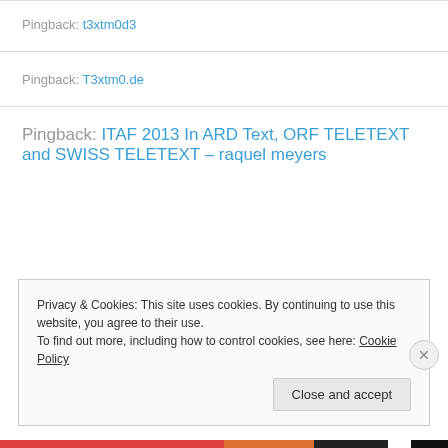Pingback: t3xtm0d3
Pingback: T3xtm0.de
Pingback: ITAF 2013 In ARD Text, ORF TELETEXT and SWISS TELETEXT – raquel meyers
Privacy & Cookies: This site uses cookies. By continuing to use this website, you agree to their use.
To find out more, including how to control cookies, see here: Cookie Policy
Close and accept